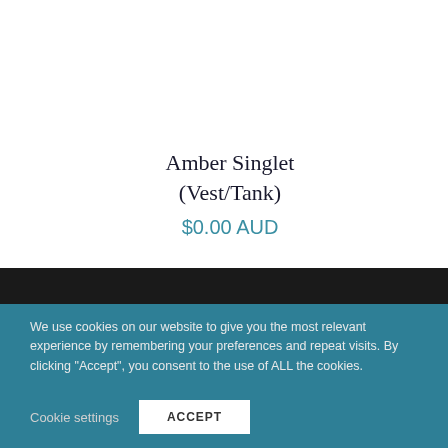Amber Singlet (Vest/Tank)
$0.00 AUD
We use cookies on our website to give you the most relevant experience by remembering your preferences and repeat visits. By clicking “Accept”, you consent to the use of ALL the cookies.
Cookie settings
ACCEPT